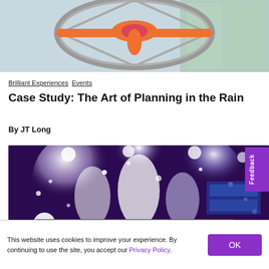[Figure (photo): Aerial acrobat performer in orange and pink costume suspended in a circular hoop apparatus, photographed from below in an indoor venue]
Brilliant Experiences Events
Case Study: The Art of Planning in the Rain
By JT Long
[Figure (photo): Indoor event scene with dramatic confetti cannons and bright stage lighting, creating a festive atmosphere with white confetti explosions against dark purple/blue lighting]
This website uses cookies to improve your experience. By continuing to use the site, you accept our Privacy Policy.